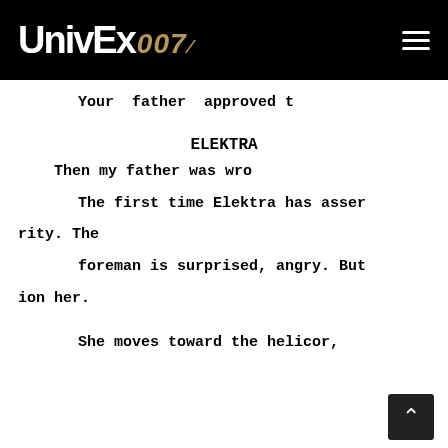UnivEx 007
Your father approved t
ELEKTRA
Then my father was wro
The first time Elektra has asser rity. The foreman is surprised, angry. But ion her.
She moves toward the helico r,